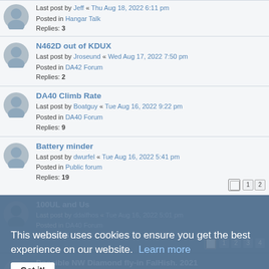Last post by Jeff « Thu Aug 18, 2022 6:11 pm
Posted in Hangar Talk
Replies: 3
N462D out of KDUX
Last post by Jroseund « Wed Aug 17, 2022 7:50 pm
Posted in DA42 Forum
Replies: 2
DA40 Climb Rate
Last post by Boatguy « Tue Aug 16, 2022 9:22 pm
Posted in DA40 Forum
Replies: 9
Battery minder
Last post by dwurfel « Tue Aug 16, 2022 5:41 pm
Posted in Public forum
Replies: 19
100UL and Us
Last post by ddalfhos « Tue Aug 16, 2022 5:01 pm
Posted in DA40 Forum
Replies: 35
Possible NW Diamond fly-in FalHish. 2021
Last post by Boatguy « Sat Aug 15, 2022 9:14 pm
Posted in Public forum
Replies: 71
This website uses cookies to ensure you get the best experience on our website. Learn more
Got it!